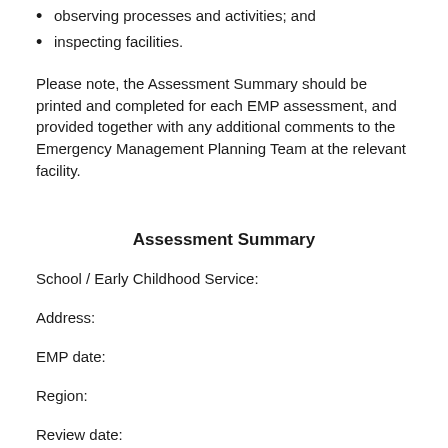observing processes and activities; and
inspecting facilities.
Please note, the Assessment Summary should be printed and completed for each EMP assessment, and provided together with any additional comments to the Emergency Management Planning Team at the relevant facility.
Assessment Summary
School / Early Childhood Service:
Address:
EMP date:
Region:
Review date: